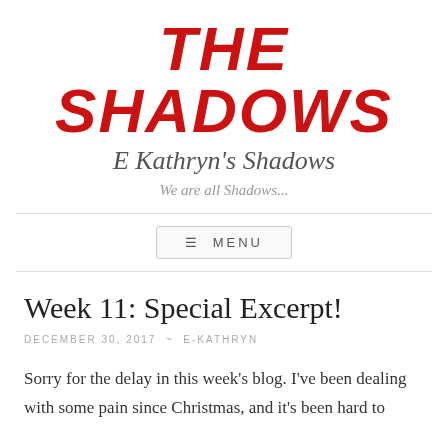THE SHADOWS
E Kathryn's Shadows
We are all Shadows...
≡ MENU
Week 11: Special Excerpt!
DECEMBER 30, 2017 ~ E-KATHRYN
Sorry for the delay in this week's blog. I've been dealing with some pain since Christmas, and it's been hard to